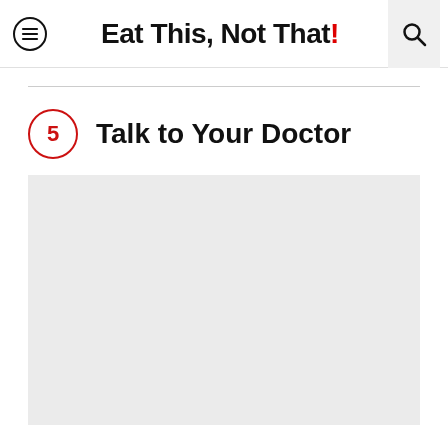Eat This, Not That!
5 Talk to Your Doctor
[Figure (photo): Large image placeholder area with light gray background, representing an article image related to talking to your doctor.]